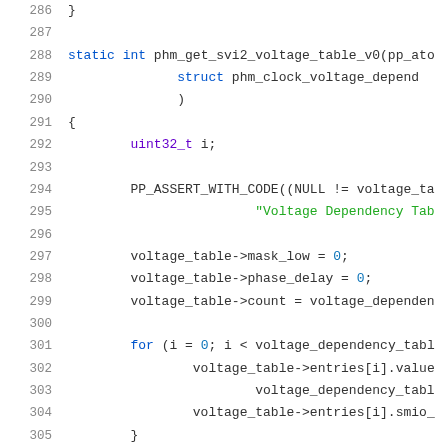Code listing lines 286–306, C source code showing phm_get_svi2_voltage_table_v0 function